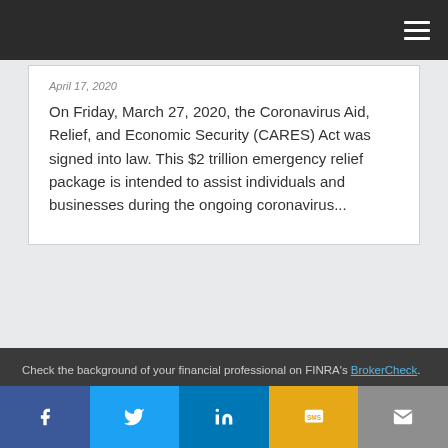April 17, 2020
On Friday, March 27, 2020, the Coronavirus Aid, Relief, and Economic Security (CARES) Act was signed into law. This $2 trillion emergency relief package is intended to assist individuals and businesses during the ongoing coronavirus...
Check the background of your financial professional on FINRA's BrokerCheck.
Social share buttons: Facebook, Twitter, LinkedIn, SMS, Email